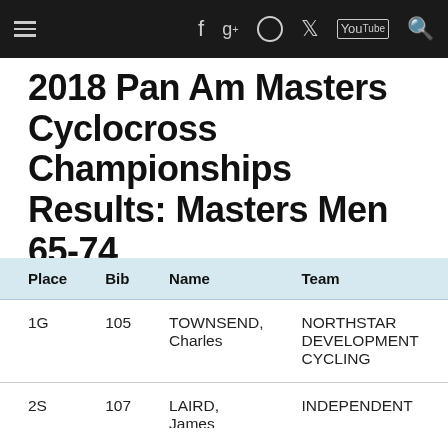≡  f  g+  ○  𝕏  YouTube  🔍
2018 Pan Am Masters Cyclocross Championships Results: Masters Men 65-74
| Place | Bib | Name | Team | Nation | Time |
| --- | --- | --- | --- | --- | --- |
| 1G | 105 | TOWNSEND, Charles | NORTHSTAR DEVELOPMENT CYCLING | USA | 31:09:0 |
| 2S | 107 | LAIRD, James | INDEPENDENT | CAN | 31:10:0 |
| 3B | 104 | DILLON, Robert | BMB RACING | USA | 35:53:0 |